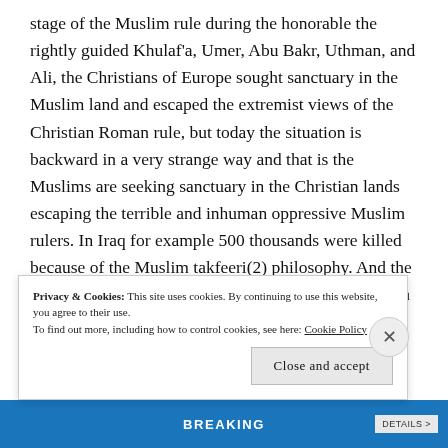stage of the Muslim rule during the honorable the rightly guided Khulaf'a, Umer, Abu Bakr, Uthman, and Ali, the Christians of Europe sought sanctuary in the Muslim land and escaped the extremist views of the Christian Roman rule, but today the situation is backward in a very strange way and that is the Muslims are seeking sanctuary in the Christian lands escaping the terrible and inhuman oppressive Muslim rulers. In Iraq for example 500 thousands were killed because of the Muslim takfeeri(2) philosophy. And the Christians of Iraq are being annihilated by the Muslim heroes of
Privacy & Cookies: This site uses cookies. By continuing to use this website, you agree to their use. To find out more, including how to control cookies, see here: Cookie Policy
Close and accept